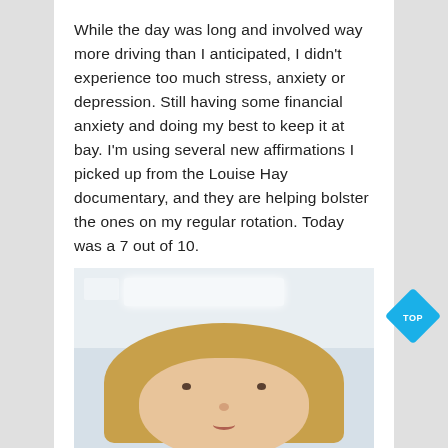While the day was long and involved way more driving than I anticipated, I didn't experience too much stress, anxiety or depression. Still having some financial anxiety and doing my best to keep it at bay. I'm using several new affirmations I picked up from the Louise Hay documentary, and they are helping bolster the ones on my regular rotation. Today was a 7 out of 10.
[Figure (photo): A woman with blonde hair and a blue shirt taking a selfie inside what appears to be an office or public building with fluorescent ceiling lights and white walls.]